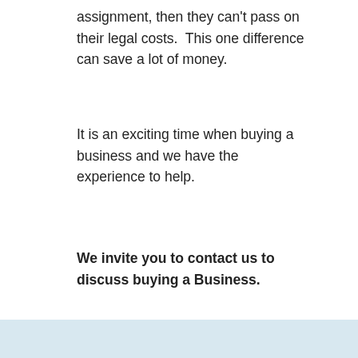assignment, then they can't pass on their legal costs.  This one difference can save a lot of money.
It is an exciting time when buying a business and we have the experience to help.
We invite you to contact us to discuss buying a Business.
This is general information only and should not be relied upon as legal advice.
Published 6 November 2017.
Filed Under: Blogs · Tagged With: business, buying